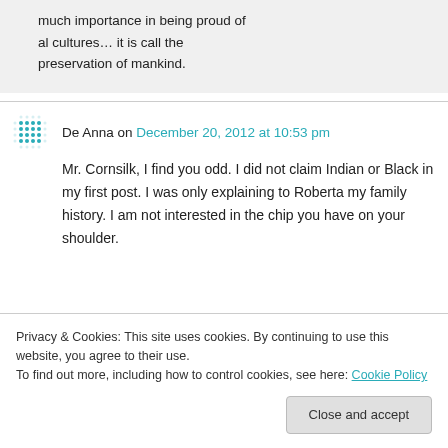much importance in being proud of al cultures… it is call the preservation of mankind.
De Anna on December 20, 2012 at 10:53 pm
Mr. Cornsilk, I find you odd. I did not claim Indian or Black in my first post. I was only explaining to Roberta my family history. I am not interested in the chip you have on your shoulder.
Privacy & Cookies: This site uses cookies. By continuing to use this website, you agree to their use. To find out more, including how to control cookies, see here: Cookie Policy